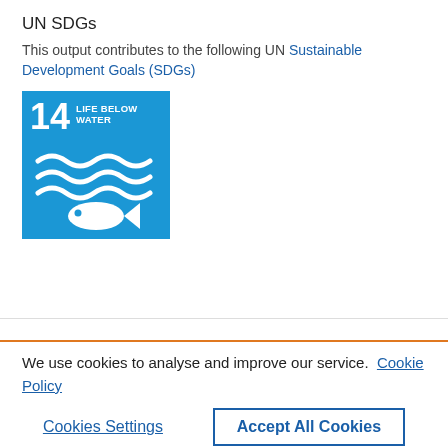UN SDGs
This output contributes to the following UN Sustainable Development Goals (SDGs)
[Figure (illustration): UN SDG 14 Life Below Water badge — blue square with the number 14, text LIFE BELOW WATER, wave icons and a fish icon in white]
We use cookies to analyse and improve our service. Cookie Policy
Cookies Settings
Accept All Cookies